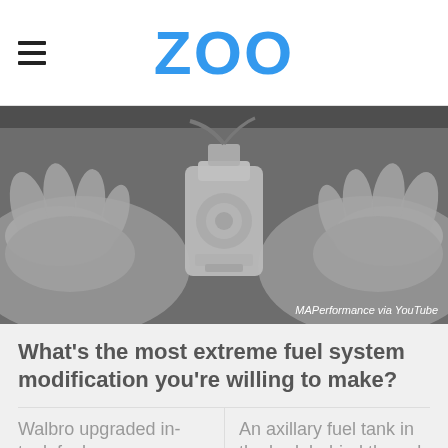ZOO
[Figure (photo): Hands holding a cylindrical fuel pump component, black and white/grayscale image. Credit: MAPerformance via YouTube]
MAPerformance via YouTube
What's the most extreme fuel system modification you're willing to make?
Walbro upgraded in-tank fuel pump
An axillary fuel tank in the bed, behind the cab
An electronic fuel management system
A tank full of premium unleaded fuel